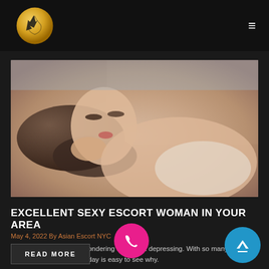Asian Escort NYC - navigation header with logo and hamburger menu
[Figure (photo): Photo of a young Asian woman lying down, partially covered, in a suggestive pose against a light background]
EXCELLENT SEXY ESCORT WOMAN IN YOUR AREA
May 4, 2022 By Asian Escort NYC
A large city is alive and wondering and is not depressing. With so many travelers to their destination every day is easy to see why.
Read more